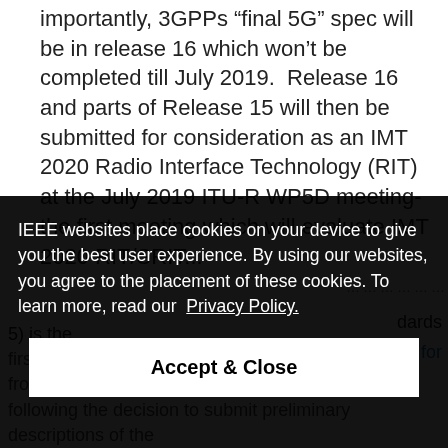importantly, 3GPPs “final 5G” spec will be in release 16 which won’t be completed till July 2019.  Release 16 and parts of Release 15 will then be submitted for consideration as an IMT 2020 Radio Interface Technology (RIT) at the July 2019 ITU-R WP5D meeting- the first meeting which will evaluate IMT 2020 RIT/SRIT...
[Figure (screenshot): Cookie consent banner overlay on an IEEE website. Black semi-transparent background with white text: 'IEEE websites place cookies on your device to give you the best user experience. By using our websites, you agree to the placement of these cookies. To learn more, read our Privacy Policy.' Below is a white 'Accept & Close' button.]
...dards n for
5) is the first of three planned steps spanning two releases from 3GPP, following the decision to submit preliminary descriptions of the